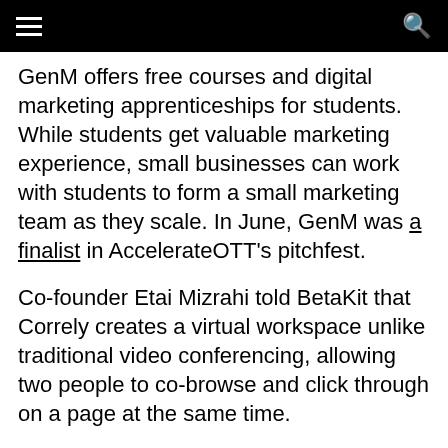[hamburger menu] [search icon]
GenM offers free courses and digital marketing apprenticeships for students. While students get valuable marketing experience, small businesses can work with students to form a small marketing team as they scale. In June, GenM was a finalist in AccelerateOTT's pitchfest.
Co-founder Etai Mizrahi told BetaKit that Correly creates a virtual workspace unlike traditional video conferencing, allowing two people to co-browse and click through on a page at the same time.